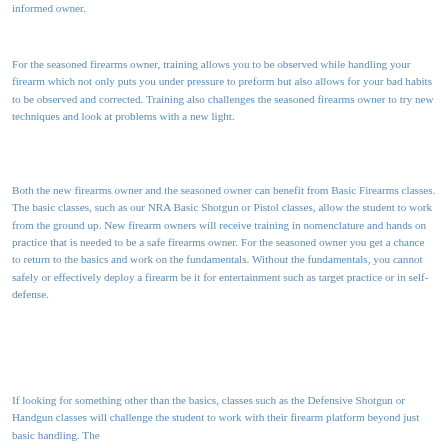informed owner.
For the seasoned firearms owner, training allows you to be observed while handling your firearm which not only puts you under pressure to preform but also allows for your bad habits to be observed and corrected. Training also challenges the seasoned firearms owner to try new techniques and look at problems with a new light.
Both the new firearms owner and the seasoned owner can benefit from Basic Firearms classes. The basic classes, such as our NRA Basic Shotgun or Pistol classes, allow the student to work from the ground up. New firearm owners will receive training in nomenclature and hands on practice that is needed to be a safe firearms owner. For the seasoned owner you get a chance to return to the basics and work on the fundamentals. Without the fundamentals, you cannot safely or effectively deploy a firearm be it for entertainment such as target practice or in self-defense.
If looking for something other than the basics, classes such as the Defensive Shotgun or Handgun classes will challenge the student to work with their firearm platform beyond just basic handling. The